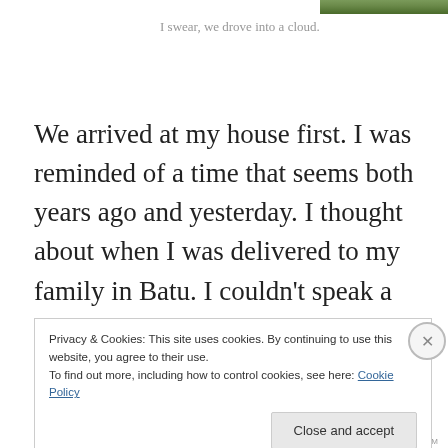[Figure (photo): Partial view of a photograph showing greenery/foliage at the top of the page]
I swear, we drove into a cloud.
We arrived at my house first. I was reminded of a time that seems both years ago and yesterday. I thought about when I was delivered to my family in Batu. I couldn't speak a word of real Indonesian, I was nearly quivering like a leaf, there were tons of people there to receive me. I
Privacy & Cookies: This site uses cookies. By continuing to use this website, you agree to their use.
To find out more, including how to control cookies, see here: Cookie Policy
Close and accept